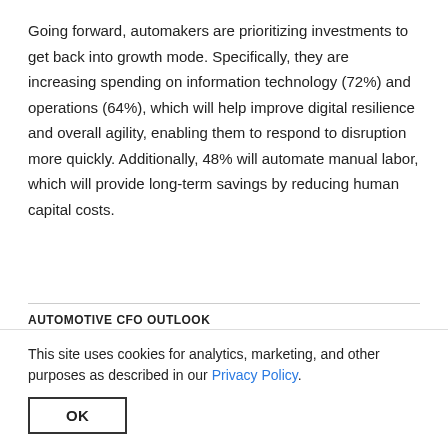Going forward, automakers are prioritizing investments to get back into growth mode. Specifically, they are increasing spending on information technology (72%) and operations (64%), which will help improve digital resilience and overall agility, enabling them to respond to disruption more quickly. Additionally, 48% will automate manual labor, which will provide long-term savings by reducing human capital costs.
AUTOMOTIVE CFO OUTLOOK
| Thriving | Surviving | Struggling |
| --- | --- | --- |
| Profitable and experiencing | Breaking even | Unprofitable and/or |
This site uses cookies for analytics, marketing, and other purposes as described in our Privacy Policy.